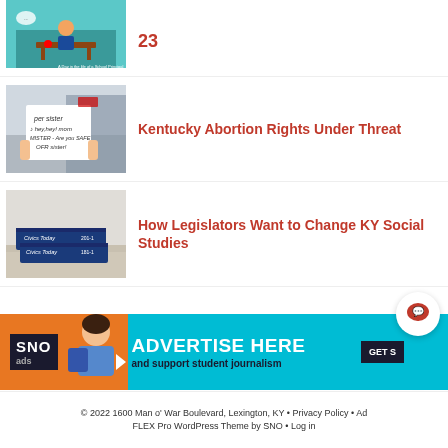[Figure (illustration): Partial top article thumbnail showing school principal infographic]
23
[Figure (photo): Person holding a protest sign at an abortion rights rally]
Kentucky Abortion Rights Under Threat
[Figure (photo): Civics Today textbooks stacked on a desk]
How Legislators Want to Change KY Social Studies
[Figure (infographic): SNO Ads advertise here banner with student and cyan/orange background]
© 2022 1600 Man o' War Boulevard, Lexington, KY • Privacy Policy • Ad FLEX Pro WordPress Theme by SNO • Log in